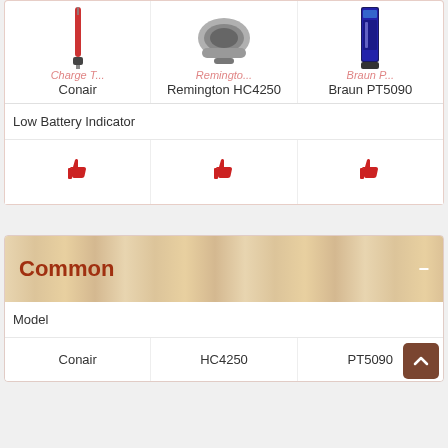| Conair | Remington HC4250 | Braun PT5090 |
| --- | --- | --- |
| Low Battery Indicator |  |  |
| 👎 | 👎 | 👎 |
Common
| Conair | HC4250 | PT5090 |
| --- | --- | --- |
| Model |  |  |